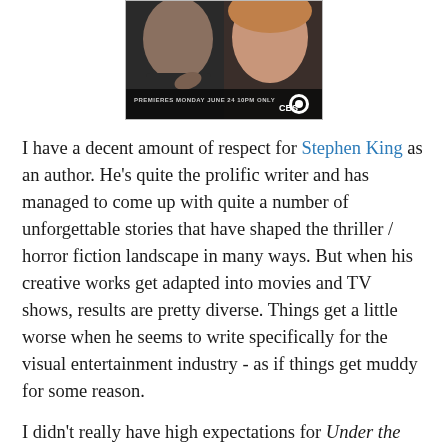[Figure (photo): TV show poster for Under the Dome on CBS. Shows two faces (a man and a woman) with text 'PREMIERES MONDAY JUNE 24 10PM ONLY CBS' and CBS logo.]
I have a decent amount of respect for Stephen King as an author. He's quite the prolific writer and has managed to come up with quite a number of unforgettable stories that have shaped the thriller / horror fiction landscape in many ways. But when his creative works get adapted into movies and TV shows, results are pretty diverse. Things get a little worse when he seems to write specifically for the visual entertainment industry - as if things get muddy for some reason.
I didn't really have high expectations for Under the Dome when the television announcement was announced, but I did want to give the show a decent chance. Beyond the potential for a Stephen King story, Brian K. Vaughan was also attached to the project. And as someone who loves Y: The Last Man and Saga, I figured that if anyone could make something of book in terms of a TV series, then the end